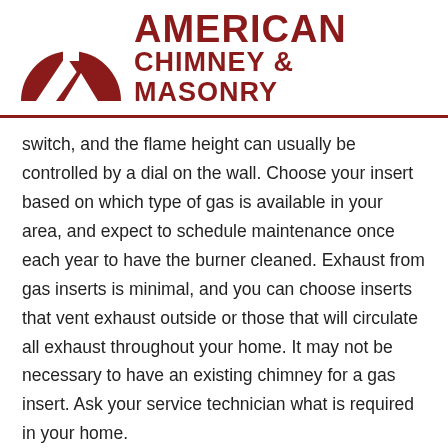[Figure (logo): American Chimney & Masonry logo with dark red chimney/mountain icon and bold red text]
switch, and the flame height can usually be controlled by a dial on the wall. Choose your insert based on which type of gas is available in your area, and expect to schedule maintenance once each year to have the burner cleaned. Exhaust from gas inserts is minimal, and you can choose inserts that vent exhaust outside or those that will circulate all exhaust throughout your home. It may not be necessary to have an existing chimney for a gas insert. Ask your service technician what is required in your home.